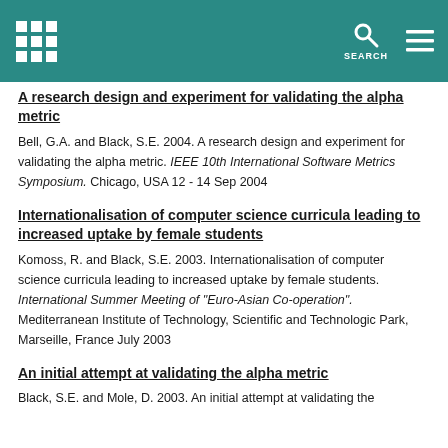SEARCH
A research design and experiment for validating the alpha metric
Bell, G.A. and Black, S.E. 2004. A research design and experiment for validating the alpha metric. IEEE 10th International Software Metrics Symposium. Chicago, USA 12 - 14 Sep 2004
Internationalisation of computer science curricula leading to increased uptake by female students
Komoss, R. and Black, S.E. 2003. Internationalisation of computer science curricula leading to increased uptake by female students. International Summer Meeting of "Euro-Asian Co-operation". Mediterranean Institute of Technology, Scientific and Technologic Park, Marseille, France July 2003
An initial attempt at validating the alpha metric
Black, S.E. and Mole, D. 2003. An initial attempt at validating the